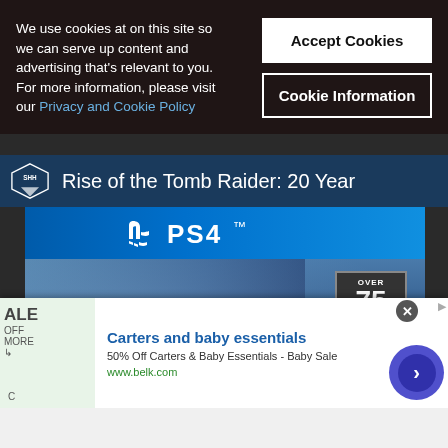We use cookies at on this site so we can serve up content and advertising that's relevant to you. For more information, please visit our Privacy and Cookie Policy
Accept Cookies
Cookie Information
Rise of the Tomb Raider: 20 Year
[Figure (photo): PS4 game advertisement showing Rise of the Tomb Raider with PS4 logo and 'Over 75 Best of Nominations and Awards' badge]
Carters and baby essentials
50% Off Carters & Baby Essentials - Baby Sale
www.belk.com